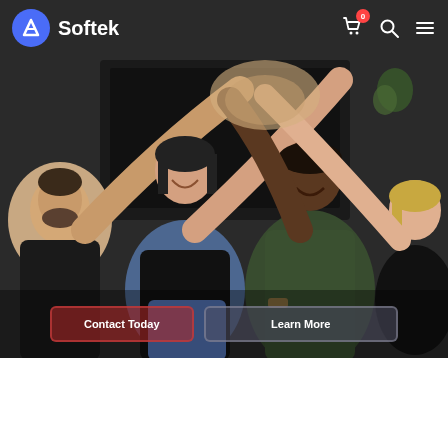[Figure (photo): Group of four diverse people giving a high five in an office setting, smiling and celebrating. Background shows office furniture and a monitor. Softek website screenshot.]
Softek
Contact Today
Learn More